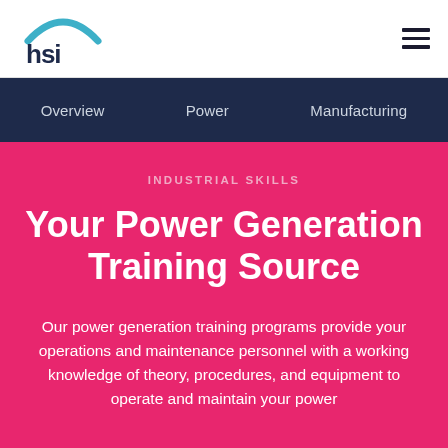[Figure (logo): HSI logo — teal arch above 'hsi' text in dark navy]
Overview   Power   Manufacturing
INDUSTRIAL SKILLS
Your Power Generation Training Source
Our power generation training programs provide your operations and maintenance personnel with a working knowledge of theory, procedures, and equipment to operate and maintain your power